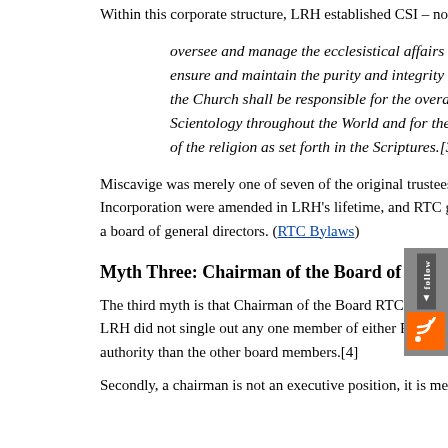Within this corporate structure, LRH established CSI – not RTC
oversee and manage the ecclesistical affairs of all other ensure and maintain the purity and integrity of the religi the Church shall be responsible for the overall propagaa Scientology throughout the World and for the enfor of the religion as set forth in the Scriptures.[3]
Miscavige was merely one of seven of the original trustees Incorporation were amended in LRH's lifetime, and RTC g a board of general directors. (RTC Bylaws)
Myth Three: Chairman of the Board of RTC is the
The third myth is that Chairman of the Board RTC is the top po LRH did not single out any one member of either RTC board to authority than the other board members.[4]
Secondly, a chairman is not an executive position, it is merely a